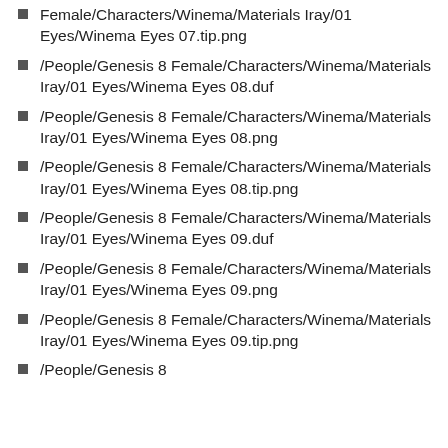/People/Genesis 8 Female/Characters/Winema/Materials Iray/01 Eyes/Winema Eyes 07.tip.png
/People/Genesis 8 Female/Characters/Winema/Materials Iray/01 Eyes/Winema Eyes 08.duf
/People/Genesis 8 Female/Characters/Winema/Materials Iray/01 Eyes/Winema Eyes 08.png
/People/Genesis 8 Female/Characters/Winema/Materials Iray/01 Eyes/Winema Eyes 08.tip.png
/People/Genesis 8 Female/Characters/Winema/Materials Iray/01 Eyes/Winema Eyes 09.duf
/People/Genesis 8 Female/Characters/Winema/Materials Iray/01 Eyes/Winema Eyes 09.png
/People/Genesis 8 Female/Characters/Winema/Materials Iray/01 Eyes/Winema Eyes 09.tip.png
/People/Genesis 8